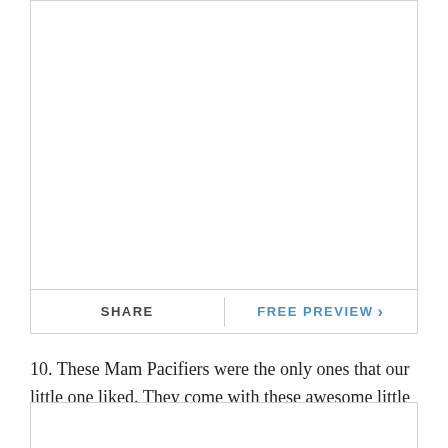[Figure (other): White rectangular box with border, top portion of page (image/content placeholder)]
SHARE   |   FREE PREVIEW >
10. These Mam Pacifiers were the only ones that our little one liked. They come with these awesome little pacifier holders that are great for keeping pacis sterile in the diaper bag..and keeping them from being misplaced in the cabinet! (You can also use the holders to sterilize the pacifiers in the microwave, but I personally, have never tried that.)
[Figure (other): White rectangular box with border, bottom portion of page (image/content placeholder)]